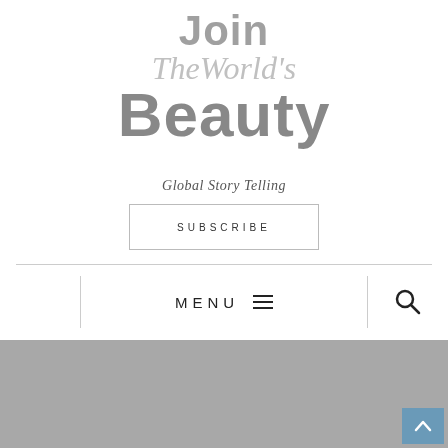[Figure (logo): Join TheWorld's Beauty logo with gray and light gray text stacked vertically]
Global Story Telling
SUBSCRIBE
MENU
[Figure (photo): Gray placeholder image area at the bottom of the page with a blue back-to-top arrow button in the lower right corner]